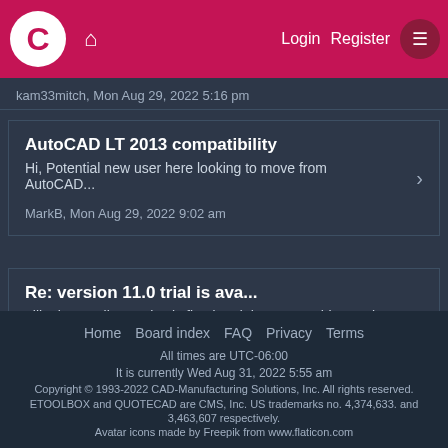C Login Register
kam33mitch, Mon Aug 29, 2022 5:16 pm
AutoCAD LT 2013 compatibility
Hi, Potential new user here looking to move from AutoCAD...
MarkB, Mon Aug 29, 2022 9:02 am
Re: version 11.0 trial is ava...
I like it overall. Revolve is fixed and the ES graphics works ...
kam33mitch, Sun Aug 28, 2022 8:13 pm
Home  Board index  FAQ  Privacy  Terms
All times are UTC-06:00
It is currently Wed Aug 31, 2022 5:55 am
Copyright © 1993-2022 CAD-Manufacturing Solutions, Inc. All rights reserved.
ETOOLBOX and QUOTECAD are CMS, Inc. US trademarks no. 4,374,633. and 3,463,607 respectively.
Avatar icons made by Freepik from www.flaticon.com